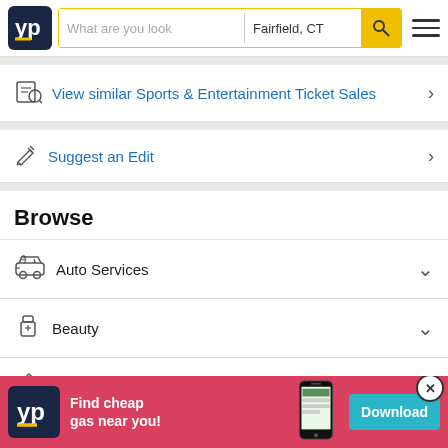[Figure (screenshot): YellowPages (YP) website header with logo, search bar showing 'What are you look' and 'Fairfield, CT', yellow search button with magnifier icon, and hamburger menu icon]
View similar Sports & Entertainment Ticket Sales
Suggest an Edit
Browse
Auto Services
Beauty
Home Services
[Figure (screenshot): Ad banner: YP logo, 'Find cheap gas near you!', phone screenshot, Download button]